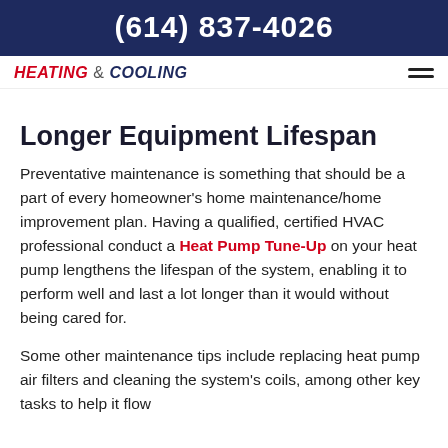(614) 837-4026
[Figure (logo): HEATING & COOLING logo with hamburger menu icon]
Longer Equipment Lifespan
Preventative maintenance is something that should be a part of every homeowner’s home maintenance/home improvement plan. Having a qualified, certified HVAC professional conduct a Heat Pump Tune-Up on your heat pump lengthens the lifespan of the system, enabling it to perform well and last a lot longer than it would without being cared for.
Some other maintenance tips include replacing heat pump air filters and cleaning the system’s coils, among other key tasks to help it flow...